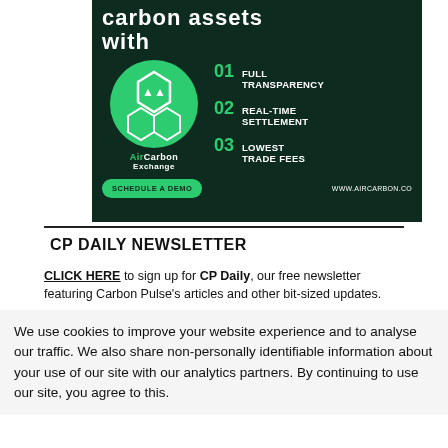[Figure (infographic): AirCarbon Exchange advertisement showing dark green background with logo, hexagon icons, and features: 01 Full Transparency, 02 Real-Time Settlement, 03 Lowest Trade Fees. Includes Schedule a Demo button and www.aircarbon.co URL.]
CP DAILY NEWSLETTER
CLICK HERE to sign up for CP Daily, our free newsletter featuring Carbon Pulse's articles and other bit-sized updates.
We use cookies to improve your website experience and to analyse our traffic. We also share non-personally identifiable information about your use of our site with our analytics partners. By continuing to use our site, you agree to this.